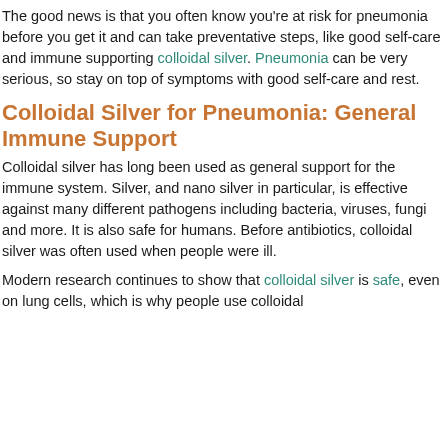The good news is that you often know you're at risk for pneumonia before you get it and can take preventative steps, like good self-care and immune supporting colloidal silver. Pneumonia can be very serious, so stay on top of symptoms with good self-care and rest.
Colloidal Silver for Pneumonia: General Immune Support
Colloidal silver has long been used as general support for the immune system. Silver, and nano silver in particular, is effective against many different pathogens including bacteria, viruses, fungi and more. It is also safe for humans. Before antibiotics, colloidal silver was often used when people were ill.
Modern research continues to show that colloidal silver is safe, even on lung cells, which is why people use colloidal